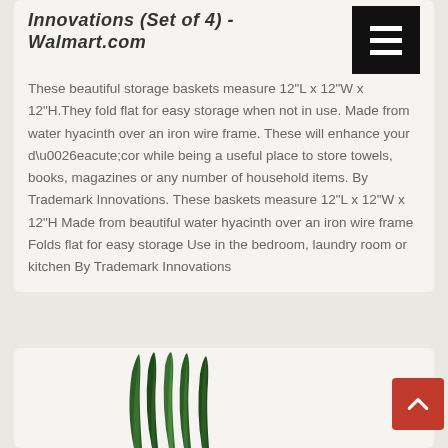Innovations (Set of 4) - Walmart.com
These beautiful storage baskets measure 12"L x 12"W x 12"H.They fold flat for easy storage when not in use. Made from water hyacinth over an iron wire frame. These will enhance your d\u0026eacute;cor while being a useful place to store towels, books, magazines or any number of household items. By Trademark Innovations. These baskets measure 12"L x 12"W x 12"H Made from beautiful water hyacinth over an iron wire frame Folds flat for easy storage Use in the bedroom, laundry room or kitchen By Trademark Innovations
[Figure (photo): Photo of green plant leaves (snake plant / sansevieria) on white background]